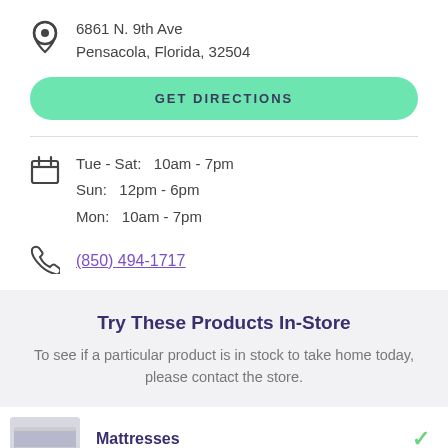6861 N. 9th Ave
Pensacola, Florida, 32504
GET DIRECTIONS
Tue - Sat:  10am - 7pm
Sun:  12pm - 6pm
Mon:  10am - 7pm
(850) 494-1717
Try These Products In-Store
To see if a particular product is in stock to take home today, please contact the store.
Mattresses